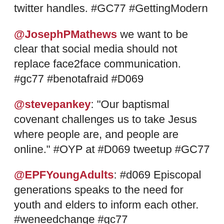twitter handles. #GC77 #GettingModern
@JosephPMathews we want to be clear that social media should not replace face2face communication. #gc77 #benotafraid #D069
@stevepankey: "Our baptismal covenant challenges us to take Jesus where people are, and people are online." #OYP at #D069 tweetup #GC77
@EPFYoungAdults: #d069 Episcopal generations speaks to the need for youth and elders to inform each other. #weneedchange #gc77
@GodWelcomesAll Chair Sherrod just referenced trolls as she names community policing as a safeguard. #gc77 #d069 #benotafraid